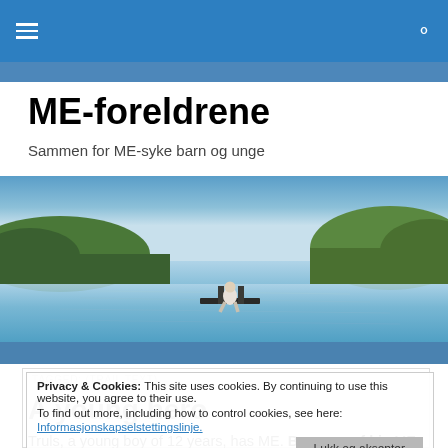ME-foreldrene — navigation bar with hamburger menu and search icon
ME-foreldrene
Sammen for ME-syke barn og unge
[Figure (photo): Person sitting on a dock by a calm lake surrounded by forested hills]
Privacy & Cookies: This site uses cookies. By continuing to use this website, you agree to their use.
To find out more, including how to control cookies, see here:
Inforkapselstrettingslinje.
Lukk og aksepter
A young hero
Truls, a young boy of 12 years, has ME. Because of his ME, Truls is rarely able to leave home. But when his